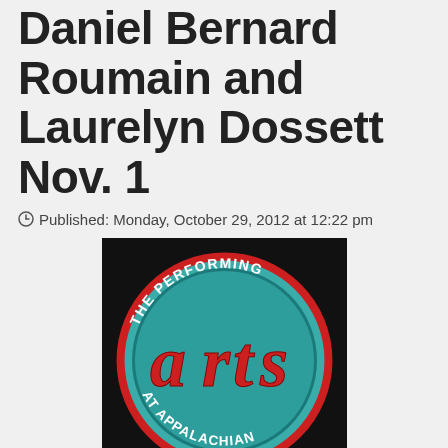Daniel Bernard Roumain and Laurelyn Dossett Nov. 1
Published: Monday, October 29, 2012 at 12:22 pm
[Figure (logo): The Performing Arts at Appalachian circular logo — teal/cyan circle with red outline, red stylized 'arts' lettering in center, white text 'THE PERFORMING' along top arc and 'AT APPALACHIAN' along bottom arc, on a black background.]